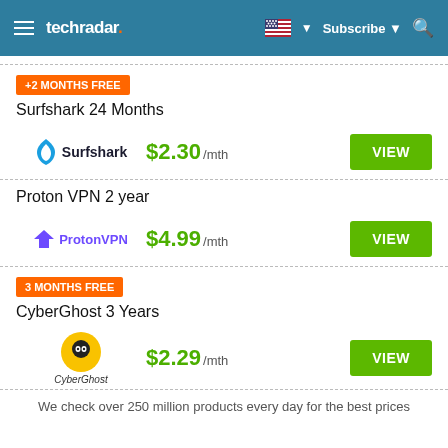techradar
+2 MONTHS FREE
Surfshark 24 Months
Surfshark $2.30 /mth VIEW
Proton VPN 2 year
Proton VPN $4.99 /mth VIEW
3 MONTHS FREE
CyberGhost 3 Years
CyberGhost $2.29 /mth VIEW
We check over 250 million products every day for the best prices